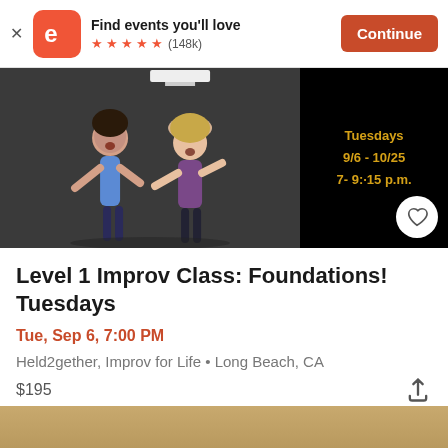[Figure (screenshot): Eventbrite app banner with logo, 'Find events you'll love', 5 star rating (148k reviews), and Continue button]
[Figure (photo): Two people doing improv acting in a dark studio; text on right side reads 'Tuesdays 9/6 - 10/25 7- 9:15 p.m.' in gold on black background]
Level 1 Improv Class: Foundations! Tuesdays
Tue, Sep 6, 7:00 PM
Held2gether, Improv for Life • Long Beach, CA
$195
[Figure (photo): Bottom strip showing partial image with warm tan/gold tones]